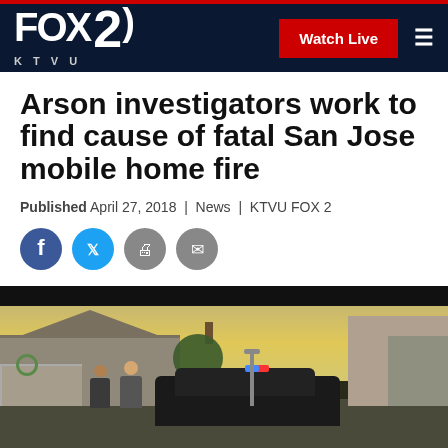FOX 2 KTVU | Watch Live
Arson investigators work to find cause of fatal San Jose mobile home fire
Published April 27, 2018 | News | KTVU FOX 2
[Figure (photo): Social media sharing icons: Facebook, Twitter, Print, Email]
[Figure (photo): Outdoor scene at dusk showing mobile home neighborhood with police vehicle with flashing lights, people standing in foreground, trees and houses visible]